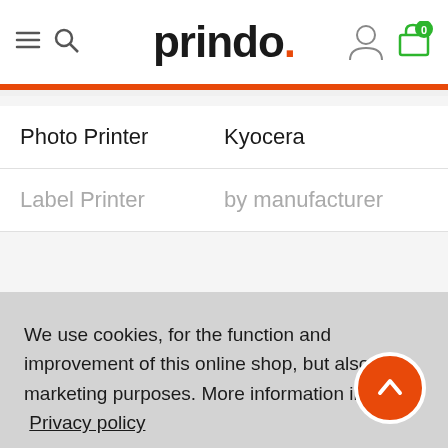[Figure (screenshot): Prindo online shop header with hamburger menu, search icon, Prindo logo, user icon, and shopping cart with badge showing 0]
Photo Printer
Kyocera
Label Printer
by manufacturer
We use cookies, for the function and improvement of this online shop, but also for marketing purposes. More information in our Privacy policy
Decline marketing cookies
Allow all cookies ✓